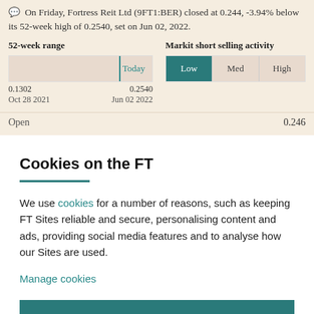On Friday, Fortress Reit Ltd (9FT1:BER) closed at 0.244, -3.94% below its 52-week high of 0.2540, set on Jun 02, 2022.
| 52-week range |  | Markit short selling activity |  |  |
| --- | --- | --- | --- | --- |
| Today |  | Low | Med | High |
| 0.1302 | 0.2540 |  |  |  |
| Oct 28 2021 | Jun 02 2022 |  |  |  |
Open  0.246
Cookies on the FT
We use cookies for a number of reasons, such as keeping FT Sites reliable and secure, personalising content and ads, providing social media features and to analyse how our Sites are used.
Manage cookies
Accept & continue